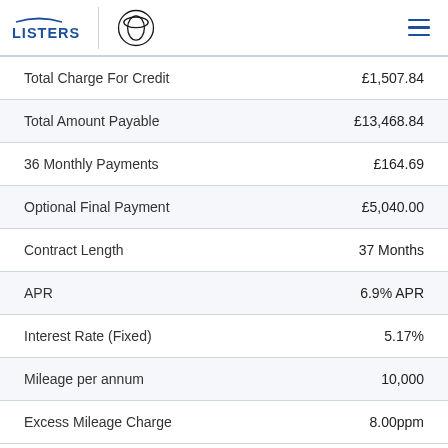LISTERS | Toyota logo | Menu
|  |  |
| --- | --- |
| Total Charge For Credit | £1,507.84 |
| Total Amount Payable | £13,468.84 |
| 36 Monthly Payments | £164.69 |
| Optional Final Payment | £5,040.00 |
| Contract Length | 37 Months |
| APR | 6.9% APR |
| Interest Rate (Fixed) | 5.17% |
| Mileage per annum | 10,000 |
| Excess Mileage Charge | 8.00ppm |